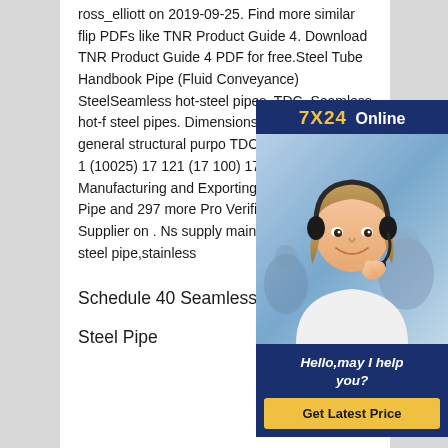ross_elliott on 2019-09-25. Find more similar flip PDFs like TNR Product Guide 4. Download TNR Product Guide 4 PDF for free.Steel Tube Handbook Pipe (Fluid Conveyance) SteelSeamless hot-steel pipes. TDC. Seamless hot-f steel pipes. Dimensions. Carbon tubes for general structural purpo TDC standards 10210-1 (10025) 17 121 (17 100) 17 124. 49 , Exp Manufacturing and Exporting Ste seamless Pipe and 297 more Pro Verified CN Gold Supplier on . Ns supply main products,carbon steel pipe,stainless
[Figure (other): Customer service chat widget overlay showing '7X24 Online' header in gold and white on dark blue background, a photo of a young woman wearing a headset smiling, and a dark blue message area with italic bold white text 'Hello,may I help you?' and a gold 'Get Latest Price' button.]
Schedule 40 Seamless Steel Pipe ZS
Steel Pipe